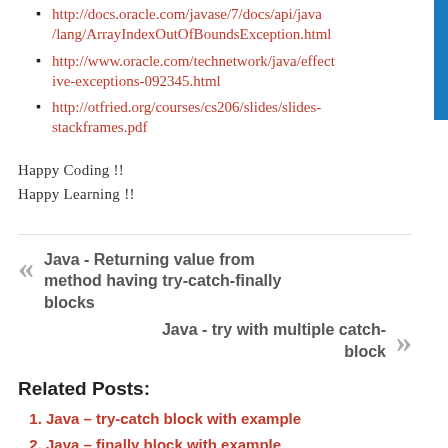http://docs.oracle.com/javase/7/docs/api/java/lang/ArrayIndexOutOfBoundsException.html
http://www.oracle.com/technetwork/java/effective-exceptions-092345.html
http://otfried.org/courses/cs206/slides/slides-stackframes.pdf
Happy Coding !!
Happy Learning !!
« Java - Returning value from method having try-catch-finally blocks
Java - try with multiple catch-block »
Related Posts:
Java – try-catch block with example
Java – finally block with example
Java – try with multiple catch-block